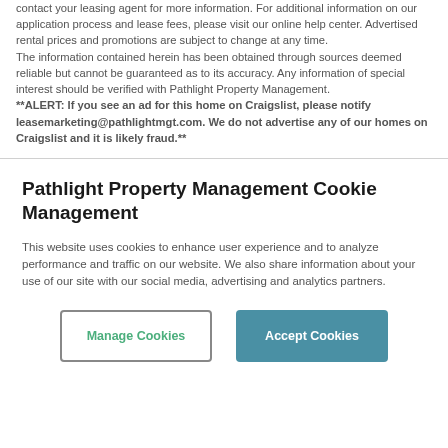contact your leasing agent for more information. For additional information on our application process and lease fees, please visit our online help center. Advertised rental prices and promotions are subject to change at any time.
The information contained herein has been obtained through sources deemed reliable but cannot be guaranteed as to its accuracy. Any information of special interest should be verified with Pathlight Property Management.
**ALERT: If you see an ad for this home on Craigslist, please notify leasemarketing@pathlightmgt.com. We do not advertise any of our homes on Craigslist and it is likely fraud.**
Pathlight Property Management Cookie Management
This website uses cookies to enhance user experience and to analyze performance and traffic on our website. We also share information about your use of our site with our social media, advertising and analytics partners.